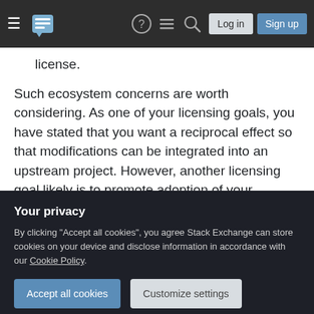Stack Exchange — Log in / Sign up navigation bar
license.
Such ecosystem concerns are worth considering. As one of your licensing goals, you have stated that you want a reciprocal effect so that modifications can be integrated into an upstream project. However, another licensing goal likely is to promote adoption of your software.
To some degree, these factors are at odds with each other: reciprocal/copyleft licenses are less attractive to downstream developers and limit use
Your privacy
By clicking "Accept all cookies", you agree Stack Exchange can store cookies on your device and disclose information in accordance with our Cookie Policy.
though you would like a network copyleft effect, a